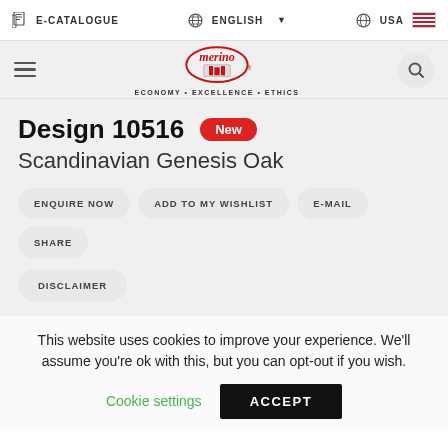E-CATALOGUE | ENGLISH | USA
[Figure (logo): Merino logo with red oval and text 'merino', tagline ECONOMY • EXCELLENCE • ETHICS]
Design 10516 New
Scandinavian Genesis Oak
ENQUIRE NOW
ADD TO MY WISHLIST
E-MAIL
SHARE
DISCLAIMER
This website uses cookies to improve your experience. We'll assume you're ok with this, but you can opt-out if you wish.
Cookie settings   ACCEPT